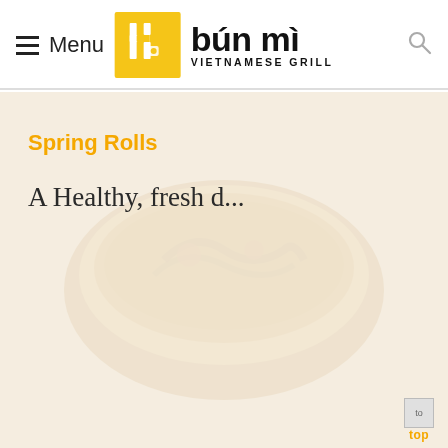≡ Menu | bún mì VIETNAMESE GRILL
Spring Rolls
A Healthy, fresh d...
[Figure (illustration): Faint watermark background image of a Vietnamese food bowl]
to top